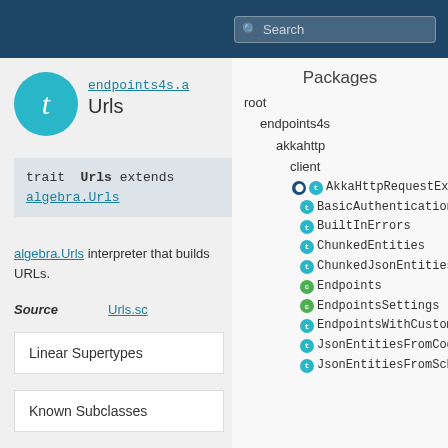Search
[Figure (logo): Teal circle with italic 't' letter representing trait icon]
endpoints4s.a
Urls
trait Urls extends algebra.Urls
algebra.Urls interpreter that builds URLs.
Source   Urls.sc
Linear Supertypes
Known Subclasses
Packages
root
endpoints4s
akkahttp
client
AkkaHttpRequestExecutor
BasicAuthentication
BuiltInErrors
ChunkedEntities
ChunkedJsonEntities
Endpoints
EndpointsSettings
EndpointsWithCustomErrors
JsonEntitiesFromCodecs
JsonEntitiesFromSchemas